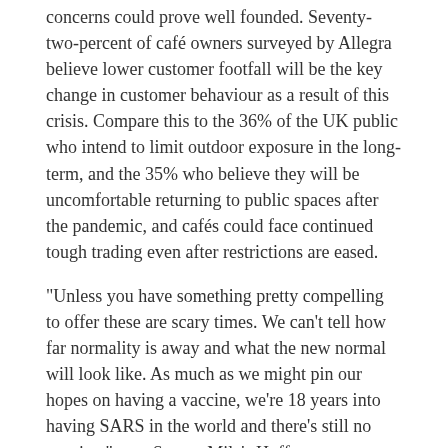concerns could prove well founded. Seventy-two-percent of café owners surveyed by Allegra believe lower customer footfall will be the key change in customer behaviour as a result of this crisis. Compare this to the 36% of the UK public who intend to limit outdoor exposure in the long-term, and the 35% who believe they will be uncomfortable returning to public spaces after the pandemic, and cafés could face continued tough trading even after restrictions are eased.
“Unless you have something pretty compelling to offer these are scary times. We can’t tell how far normality is away and what the new normal will look like. As much as we might pin our hopes on having a vaccine, we’re 18 years into having SARS in the world and there’s still no vaccine,” says Square Mile’s Hoffmann.
Out of the frying pan...
With the prospect of a global recession looming, the majority of café owners surveyed by Allegra’s café impact Survey do not anticipate a swift return to normality. In May 2020 just 3% expected normal operations to resume within 3 months. The remaining 97% have a fully...